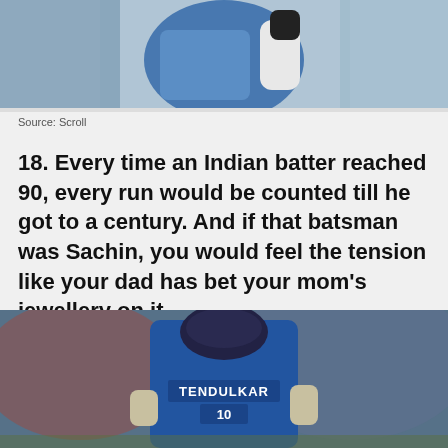[Figure (photo): Cricket player in blue India jersey batting, upper body visible, partial crop at top of page]
Source: Scroll
18. Every time an Indian batter reached 90, every run would be counted till he got to a century. And if that batsman was Sachin, you would feel the tension like your dad has bet your mom's jewellery on it.
[Figure (photo): Sachin Tendulkar cricket player seen from behind, wearing blue jersey with TENDULKAR printed on back, helmet on, stadium crowd in background. Ad banner at bottom: BitLife - START A NEW LIFE with FAIL text and cartoon graphic.]